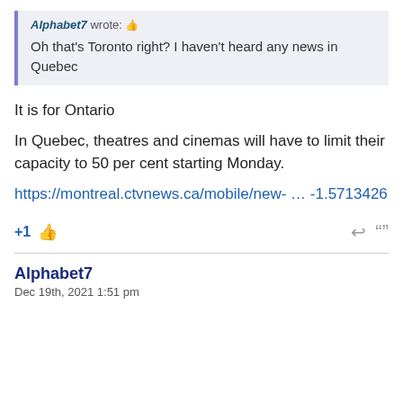Alphabet7 wrote:
Oh that's Toronto right? I haven't heard any news in Quebec
It is for Ontario
In Quebec, theatres and cinemas will have to limit their capacity to 50 per cent starting Monday.
https://montreal.ctvnews.ca/mobile/new- … -1.5713426
+1
Alphabet7
Dec 19th, 2021 1:51 pm